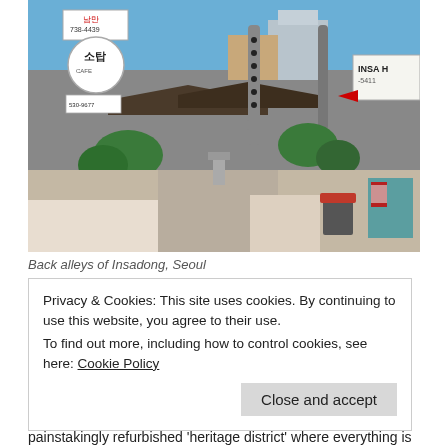[Figure (photo): Back alley street scene in Insadong, Seoul. Shows traditional Korean hanok buildings with curved tile roofs, Korean signage including '남만 738-4439', '소탑 cafe', industrial pipes and ducts overhead, lush green vegetation, trash bins with red lids, and a teal utility box on the right. Blue sky visible above buildings in background.]
Back alleys of Insadong, Seoul
Privacy & Cookies: This site uses cookies. By continuing to use this website, you agree to their use.
To find out more, including how to control cookies, see here: Cookie Policy
Close and accept
painstakingly refurbished 'heritage district' where everything is